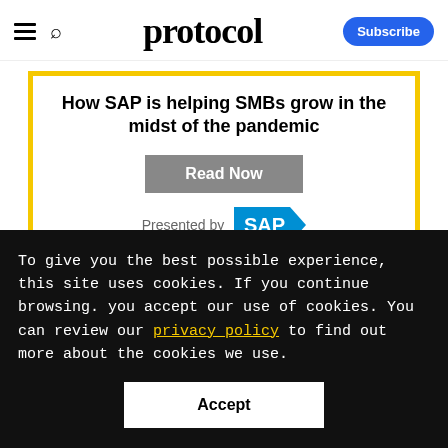protocol — Subscribe
How SAP is helping SMBs grow in the midst of the pandemic
Read Now
Presented by SAP
TWITTER
To give you the best possible experience, this site uses cookies. If you continue browsing. you accept our use of cookies. You can review our privacy policy to find out more about the cookies we use.
Accept